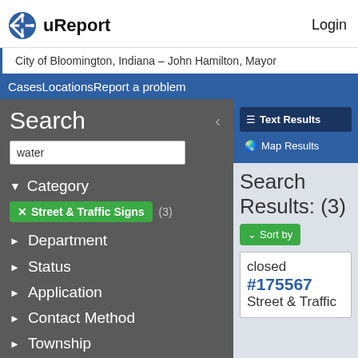uReport   Login
City of Bloomington, Indiana – John Hamilton, Mayor
CasesLocationsReport a problem
Search
water
Category
Street & Traffic Signs (3)
Department
Status
Application
Contact Method
Township
Case Date
Text Results
Map Results
Search Results: (3)
Sort by
closed #175567 Street & Traffic Signs